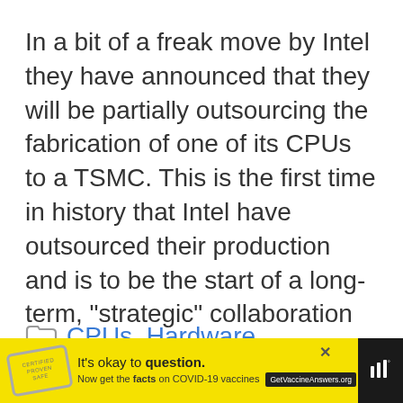In a bit of a freak move by Intel they have announced that they will be partially outsourcing the fabrication of one of its CPUs to a TSMC. This is the first time in history that Intel have outsourced their production and is to be the start of a long-term, "strategic" collaboration in which Atom … Read more
CPUs, Hardware
Atom, Intel
[Figure (other): Advertisement banner: yellow background with stamp graphic, text 'It’s okay to question. Now get the facts on COVID-19 vaccines GetVaccineAnswers.org', close button, and dark right panel with audio/media icon]